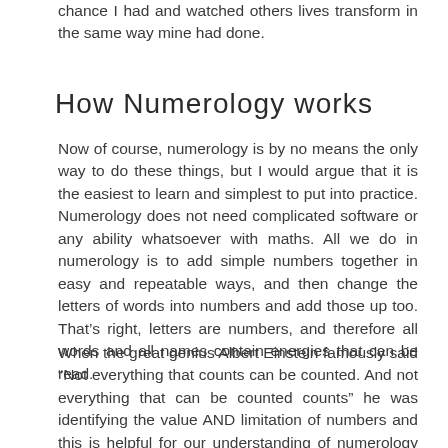chance I had and watched others lives transform in the same way mine had done.
How Numerology works
Now of course, numerology is by no means the only way to do these things, but I would argue that it is the easiest to learn and simplest to put into practice. Numerology does not need complicated software or any ability whatsoever with maths. All we do in numerology is to add simple numbers together in easy and repeatable ways, and then change the letters of words into numbers and add those up too. That's right, letters are numbers, and therefore all words and all names contain energies that can be read.
When the great genius Albert Einstein famously said “Not everything that counts can be counted. And not everything that can be counted counts” he was identifying the value AND limitation of numbers and this is helpful for our understanding of numerology too.